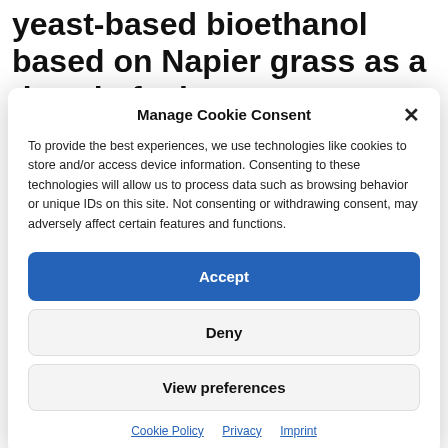yeast-based bioethanol based on Napier grass as a drop-in fuel.
Manage Cookie Consent
To provide the best experiences, we use technologies like cookies to store and/or access device information. Consenting to these technologies will allow us to process data such as browsing behavior or unique IDs on this site. Not consenting or withdrawing consent, may adversely affect certain features and functions.
Accept
Deny
View preferences
Cookie Policy  Privacy  Imprint